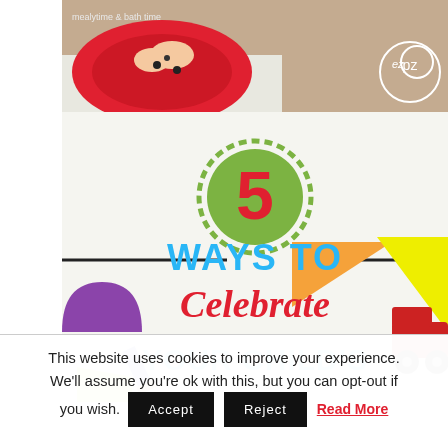[Figure (photo): Advertisement banner for ezpz brand showing a child playing with a red plate/mat on a table, with ezpz logo in bottom right corner]
[Figure (illustration): Colorful graphic image with geometric wooden toy shapes (purple semicircle, yellow-green shape, orange triangle, yellow triangle, toy car) and central text reading '5 WAYS TO Celebrate YOUR CHILD'S' on white background]
This website uses cookies to improve your experience. We'll assume you're ok with this, but you can opt-out if you wish.
Accept
Reject
Read More